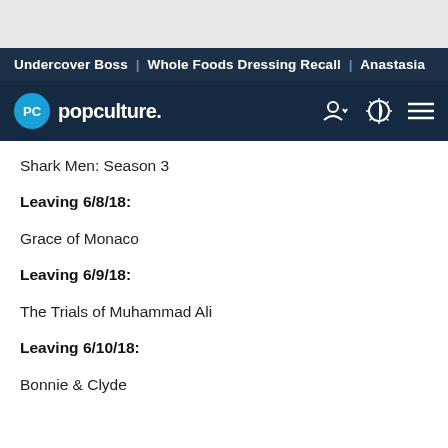Undercover Boss | Whole Foods Dressing Recall | Anastasia
[Figure (logo): PopCulture.com logo with navigation bar icons (user, theme toggle, hamburger menu)]
Shark Men: Season 3
Leaving 6/8/18:
Grace of Monaco
Leaving 6/9/18:
The Trials of Muhammad Ali
Leaving 6/10/18:
Bonnie & Clyde